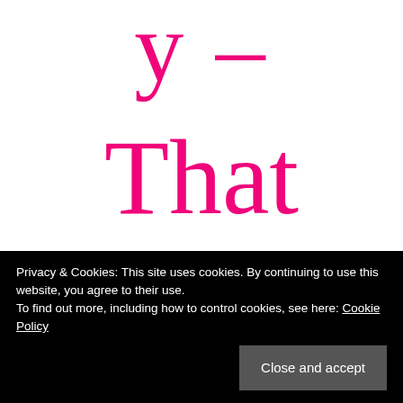y –
That
's
She
Privacy & Cookies: This site uses cookies. By continuing to use this website, you agree to their use.
To find out more, including how to control cookies, see here: Cookie Policy
Close and accept